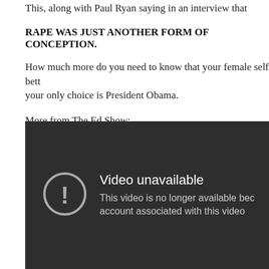This, along with Paul Ryan saying in an interview that
RAPE WAS JUST ANOTHER FORM OF CONCEPTION.
How much more do you need to know that your female self bett your only choice is President Obama.
More from The Ed Show:
[Figure (screenshot): Embedded video player showing 'Video unavailable' message with exclamation icon. Text reads: 'This video is no longer available bec account associated with this video']